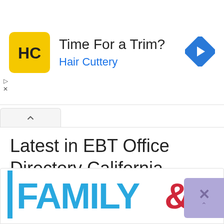[Figure (screenshot): Hair Cuttery advertisement banner with yellow logo, 'Time For a Trim?' headline, blue 'Hair Cuttery' subtext, and a blue diamond navigation arrow icon on the right]
Latest in EBT Office Directory California
ADVERTISEMENT
[Figure (logo): Family & logo in large blue text with red ampersand, partially cropped at bottom of page]